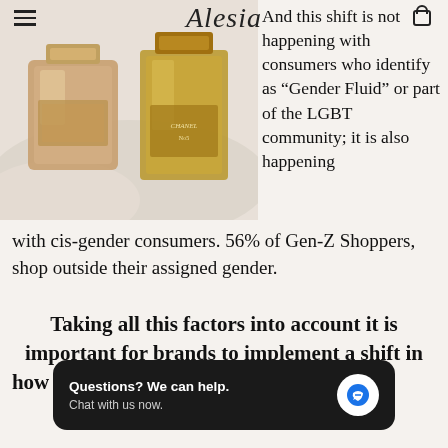≡  Alesia  🛒
[Figure (photo): Two perfume bottles (one pink/rose, one yellow/gold Chanel) on white fabric background]
And this shift is not happening with consumers who identify as “Gender Fluid” or part of the LGBT community; it is also happening with cis-gender consumers. 56% of Gen-Z Shoppers, shop outside their assigned gender.
Taking all this factors into account it is important for brands to implement a shift in how they run operations, do business, and label products.
Questions? We can help. Chat with us now.